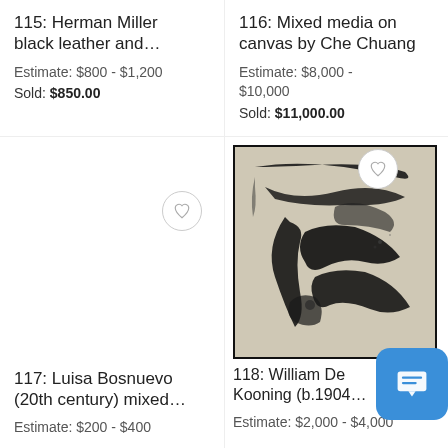115: Herman Miller black leather and…
Estimate: $800 - $1,200
Sold: $850.00
116: Mixed media on canvas by Che Chuang
Estimate: $8,000 - $10,000
Sold: $11,000.00
[Figure (photo): Abstract black ink artwork in black frame for lot 118 William De Kooning]
117: Luisa Bosnuevo (20th century) mixed…
Estimate: $200 - $400
118: William De Kooning (b.1904…
Estimate: $2,000 - $4,000